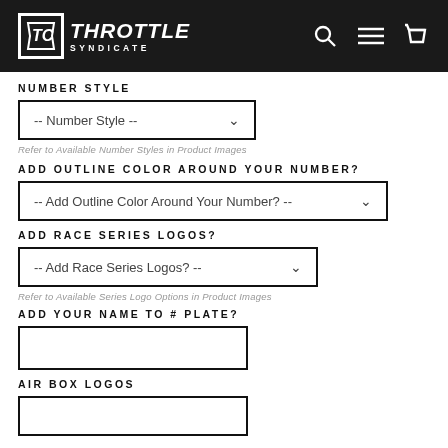THROTTLE SYNDICATE
NUMBER STYLE
[Figure (screenshot): Dropdown selector labeled '-- Number Style --']
Refer to Available Number Styles in Product Images
ADD OUTLINE COLOR AROUND YOUR NUMBER?
[Figure (screenshot): Dropdown selector labeled '-- Add Outline Color Around Your Number? --']
ADD RACE SERIES LOGOS?
[Figure (screenshot): Dropdown selector labeled '-- Add Race Series Logos? --']
Refer to Available Series Logo Options in Product Images
ADD YOUR NAME TO # PLATE?
[Figure (screenshot): Empty text input box]
AIR BOX LOGOS
[Figure (screenshot): Empty text input box]